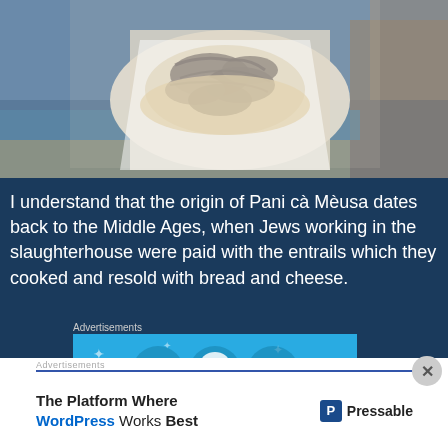[Figure (photo): Photo of a food dish (Pani ca Meusa - Sicilian street food with entrails/offal on bread) served on white paper, with a beach/rocky coastal background]
I understand that the origin of Pani cà Mèusa dates back to the Middle Ages, when Jews working in the slaughterhouse were paid with the entrails which they cooked and resold with bread and cheese.
[Figure (screenshot): Advertisement banner with blue background showing document/building icons]
Advertisements
[Figure (screenshot): Pressable advertisement: 'The Platform Where WordPress Works Best']